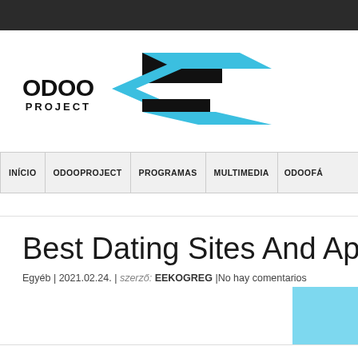[Figure (logo): Odoo Project logo with geometric cyan and black arrow/parallelogram shapes]
INÍCIO | ODOOPROJECT | PROGRAMAS | MULTIMEDIA | ODOOFACTORY
Best Dating Sites And Ap
Egyéb | 2021.02.24. | szerző: EEKOGREG |No hay comentarios